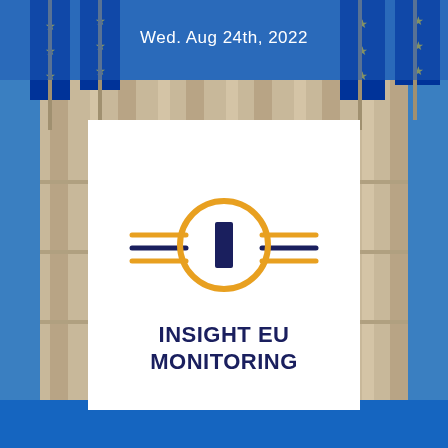Wed. Aug 24th, 2022
[Figure (logo): Insight EU Monitoring logo: an orange circle with a dark navy vertical bar in the center, flanked by two horizontal double lines (one gold, one navy) on each side, resembling a circuit/monitoring symbol]
INSIGHT EU MONITORING
[Figure (photo): Background photo of European Parliament or EU institution building with blue EU flags hanging from poles]